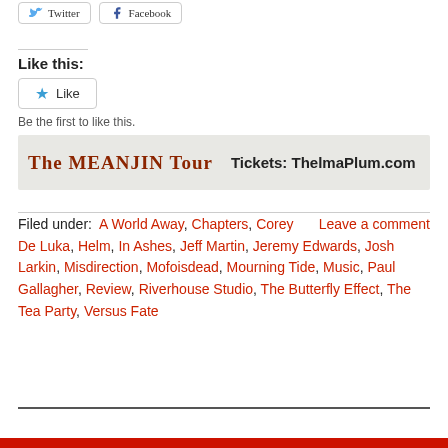Twitter  Facebook
Like this:
Like
Be the first to like this.
[Figure (other): The MEANJIN Tour banner with text: Tickets: ThelmaPlum.com]
Filed under: A World Away, Chapters, Corey   Leave a comment De Luka, Helm, In Ashes, Jeff Martin, Jeremy Edwards, Josh Larkin, Misdirection, Mofoisdead, Mourning Tide, Music, Paul Gallagher, Review, Riverhouse Studio, The Butterfly Effect, The Tea Party, Versus Fate